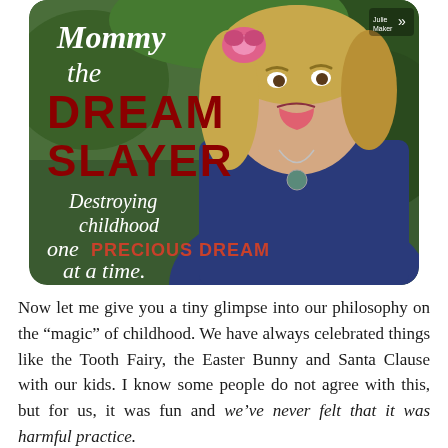[Figure (photo): Photo of a blonde woman making a silly face with tongue out, wearing a pink flower headband and blue tank top, with text overlay reading: 'Mommy the DREAM SLAYER Destroying childhood one PRECIOUS DREAM at a time.' Text is white and dark red on a nature background.]
Now let me give you a tiny glimpse into our philosophy on the “magic” of childhood. We have always celebrated things like the Tooth Fairy, the Easter Bunny and Santa Clause with our kids. I know some people do not agree with this, but for us, it was fun and we’ve never felt that it was harmful practice.
I destroyed the myth of the Easter Bunny for our children last year because, honestly, it was my least